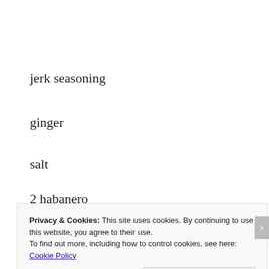jerk seasoning
ginger
salt
2 habanero
Privacy & Cookies: This site uses cookies. By continuing to use this website, you agree to their use.
To find out more, including how to control cookies, see here: Cookie Policy
Close and accept